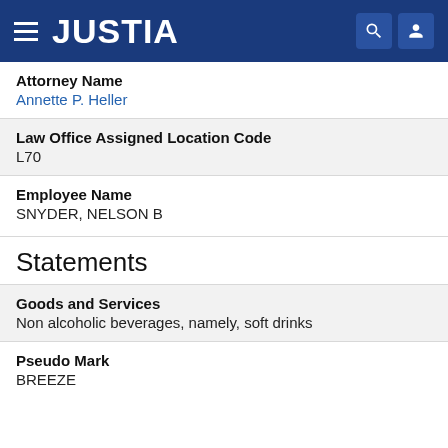JUSTIA
Attorney Name
Annette P. Heller
Law Office Assigned Location Code
L70
Employee Name
SNYDER, NELSON B
Statements
Goods and Services
Non alcoholic beverages, namely, soft drinks
Pseudo Mark
BREEZE